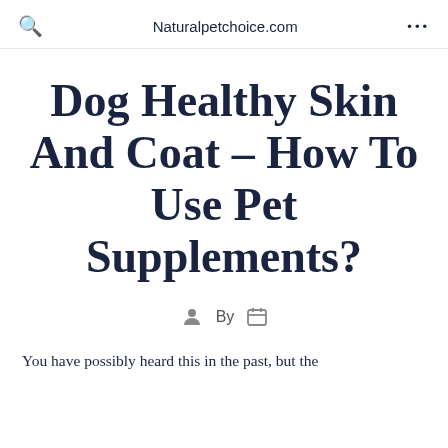Naturalpetchoice.com
Dog Healthy Skin And Coat – How To Use Pet Supplements?
By
You have possibly heard this in the past, but the